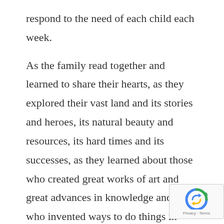respond to the need of each child each week.

As the family read together and learned to share their hearts, as they explored their vast land and its stories and heroes, its natural beauty and resources, its hard times and its successes, as they learned about those who created great works of art and great advances in knowledge and those who invented ways to do things in new and better ways, and as they learned the principles that govern success in every arena, the young prince princesses began to have a longing to be a